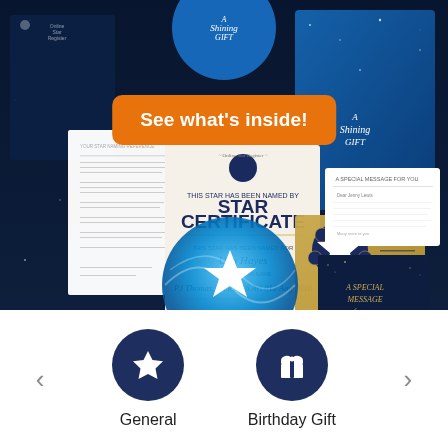[Figure (photo): Product mockup showing star naming gift package contents including a Star Certificate with 'STAR CERTIFICATE' heading, a dark navy folder, a gold card with star emblem, a letter, a celestial globe, and greeting cards, all displayed on a dark navy starry background. An orange call-to-action button reads 'See what's inside!']
See what's inside!
General
Birthday Gift